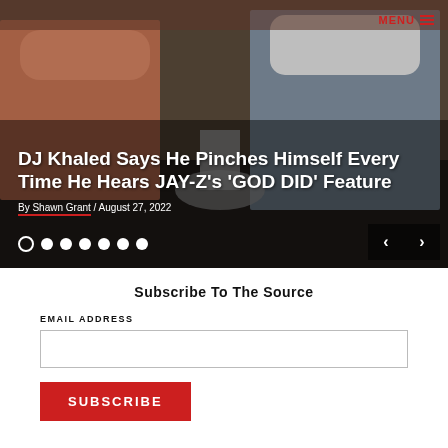[Figure (photo): Hero image of a news article slider showing two people seated indoors. Overlaid text headline and byline. Menu button top right. Dot navigation bottom left. Arrow navigation bottom right.]
DJ Khaled Says He Pinches Himself Every Time He Hears JAY-Z's 'GOD DID' Feature
By Shawn Grant / August 27, 2022
Subscribe To The Source
EMAIL ADDRESS